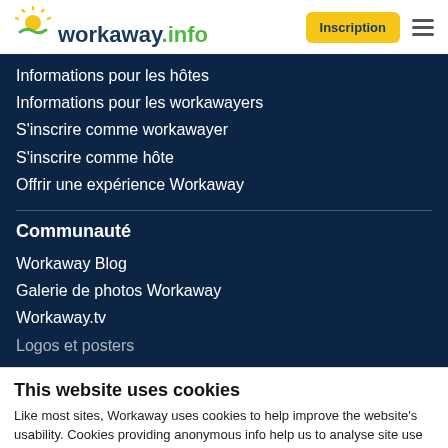workaway.info | Inscription
Informations pour les hôtes
Informations pour les workawayers
S'inscrire comme workawayer
S'inscrire comme hôte
Offrir une expérience Workaway
Communauté
Workaway Blog
Galerie de photos Workaway
Workaway.tv
Logos et posters
This website uses cookies
Like most sites, Workaway uses cookies to help improve the website's usability. Cookies providing anonymous info help us to analyse site use as well as improve content and present social media features.  You consent to our cookies if you continue to use our website.
OK
Settings